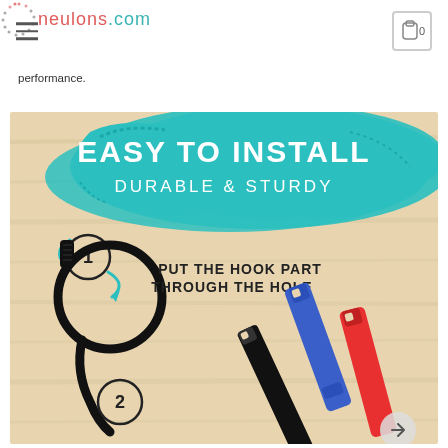neulons.com
performance.
[Figure (infographic): Product infographic showing velcro cable ties/straps. Teal painted splash background with white text 'EASY TO INSTALL' and 'DURABLE & STURDY'. Step 1 circle: black velcro strap looped into circle with teal arrows and label 'PUT THE HOOK PART THROUGH THE HOLE'. Step 2 circle shown at bottom. Black, blue, and red velcro straps shown on wooden background.]